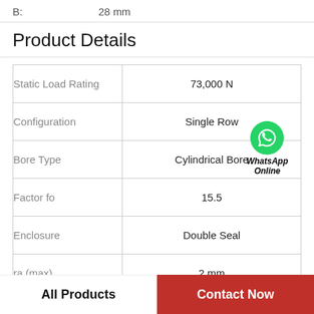B:    28 mm
Product Details
| Property | Value |
| --- | --- |
| Static Load Rating | 73,000 N |
| Configuration | Single Row |
| Bore Type | Cylindrical Bore |
| Factor fo | 15.5 |
| Enclosure | Double Seal |
| ra (max) | 2 mm |
| D | 170 |
All Products   Contact Now